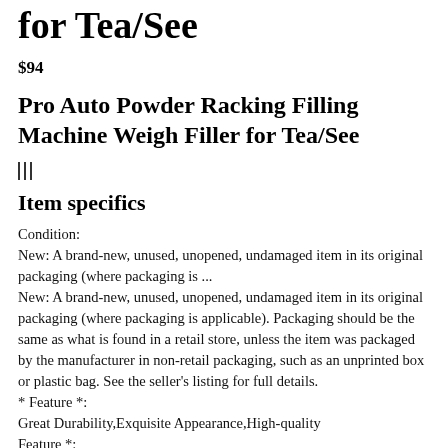for Tea/See
$94
Pro Auto Powder Racking Filling Machine Weigh Filler for Tea/See
Item specifics
Condition:
New: A brand-new, unused, unopened, undamaged item in its original packaging (where packaging is ...
New: A brand-new, unused, unopened, undamaged item in its original packaging (where packaging is applicable). Packaging should be the same as what is found in a retail store, unless the item was packaged by the manufacturer in non-retail packaging, such as an unprinted box or plastic bag. See the seller’s listing for full details.
* Feature *:
Great Durability,Exquisite Appearance,High-quality
Feature *: